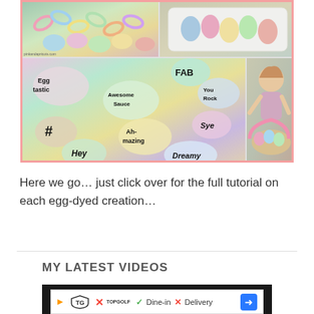[Figure (photo): Collage of Easter egg photos: top-left shows colorful eggs in a basket with paper chain, top-right shows eggs on a white plate, bottom-left shows hand-decorated eggs with words like FAB, Eggtastic, Awesome Sauce, Ah-mazing, You Rock, Sye, Dreamy, bottom-right shows a young child picking up Easter eggs from a basket]
Here we go… just click over for the full tutorial on each egg-dyed creation…
MY LATEST VIDEOS
[Figure (screenshot): Dark video player area partially visible at bottom of page]
[Figure (other): Advertisement bar: Topgolf logo with play/X icons, checkmark Dine-in, X Delivery, blue arrow navigation icon]